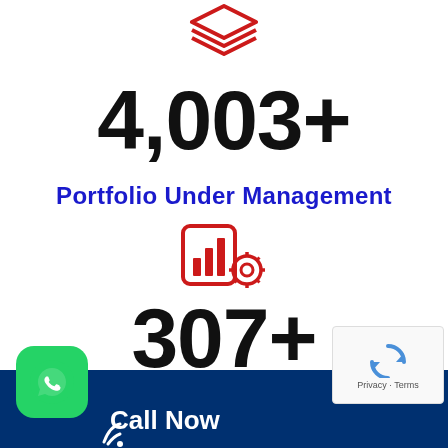[Figure (illustration): Red layered stack / portfolio icon (three stacked chevron layers in red)]
4,003+
Portfolio Under Management
[Figure (illustration): Red icon of a bar chart on a smartphone with a settings/gear cog overlay]
307+
Investments
[Figure (illustration): Bottom dark-blue bar with green WhatsApp button on left and 'Call Now' text in white]
[Figure (other): reCAPTCHA privacy box overlay in bottom-right corner showing spinning arrows logo and 'Privacy - Terms' text]